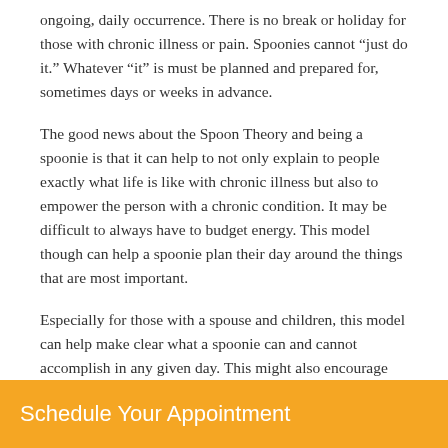ongoing, daily occurrence. There is no break or holiday for those with chronic illness or pain. Spoonies cannot “just do it.” Whatever “it” is must be planned and prepared for, sometimes days or weeks in advance.
The good news about the Spoon Theory and being a spoonie is that it can help to not only explain to people exactly what life is like with chronic illness but also to empower the person with a chronic condition. It may be difficult to always have to budget energy. This model though can help a spoonie plan their day around the things that are most important.
Especially for those with a spouse and children, this model can help make clear what a spoonie can and cannot accomplish in any given day. This might also encourage family members to pitch in and take over tasks that might be necessary but not crucial for a spoonie to
Schedule Your Appointment